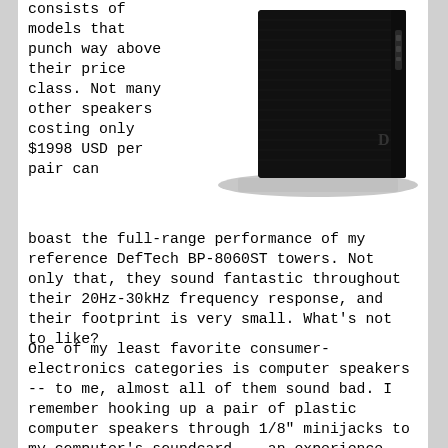consists of models that punch way above their price class. Not many other speakers costing only $1998 USD per pair can boast the full-range performance of my reference DefTech BP-8060ST towers. Not only that, they sound fantastic throughout their 20Hz-30kHz frequency response, and their footprint is very small. What's not to like?
[Figure (photo): A black Definitive Technology Incline speaker on a white stand, shown from a slightly elevated angle against a white background.]
One of my least favorite consumer-electronics categories is computer speakers -- to me, almost all of them sound bad. I remember hooking up a pair of plastic computer speakers through 1/8" minijacks to my computer's soundcard -- an experience memorable for all the wrong reasons. So when Editor-in-Chief Jeff Fritz asked if I wanted to review Definitive Technology's Inclines, I was at first apprehensive, but then I thought, why not?